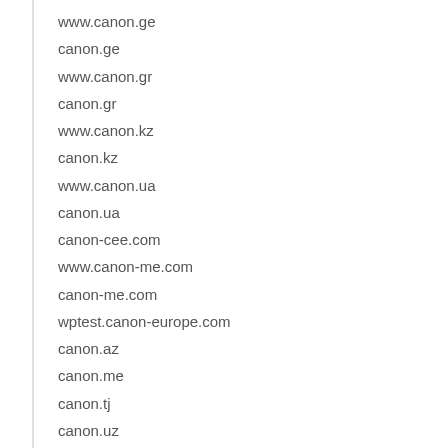www.canon.ge
canon.ge
www.canon.gr
canon.gr
www.canon.kz
canon.kz
www.canon.ua
canon.ua
canon-cee.com
www.canon-me.com
canon-me.com
wptest.canon-europe.com
canon.az
canon.me
canon.tj
canon.uz
canon.ro
www.canon.co.za
canonfoundation.org
fr.canon.be
nl.canon.be
de.canon.ch